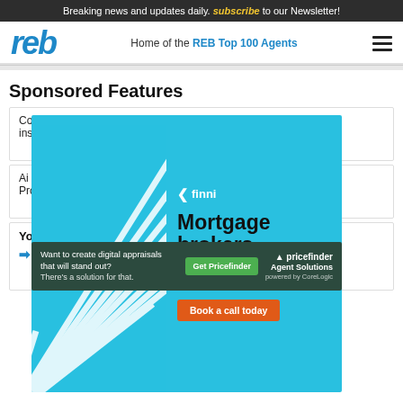Breaking news and updates daily. subscribe to our Newsletter!
reb — Home of the REB Top 100 Agents
Sponsored Features
Con... insig...
[Figure (infographic): Finni mortgage brokers advertisement. Blue background with white stripe design. Text reads: finni, Mortgage brokers that get property investment. Book a call today (orange button).]
Ai di... Prop...
Your own business, without the distractions
REB...
[Figure (infographic): Pricefinder Agent Solutions advertisement on dark green background. Text: Want to create digital appraisals that will stand out? There's a solution for that. Get Pricefinder (green button). Pricefinder Agent Solutions powered by CoreLogic logo.]